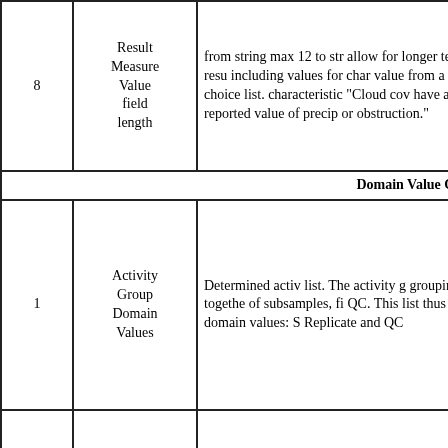| # | Field | Description |
| --- | --- | --- |
| 8 | Result Measure Value field length | from string max 12 to str allow for longer text resu including values for char value from a choice list. characteristic "Cloud co have a reported value of precip or obstruction." |
|  | Domain Value Chang |  |
| 1 | Activity Group Domain Values | Determined activ list. The activity g grouping togethe of subsamples, fi QC. This list thus domain values: S Replicate and QC |
| 2 | Analytical Methods Domain | The schema will value list for ana domain value list against, unless th Context is a valu list. (if you don't |